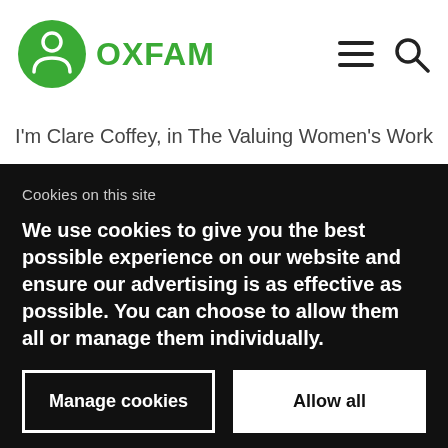[Figure (logo): Oxfam logo: green circle with person icon and green OXFAM text]
I'm Clare Coffey, in The Valuing Women's Work
Cookies on this site
We use cookies to give you the best possible experience on our website and ensure our advertising is as effective as possible. You can choose to allow them all or manage them individually.
Manage cookies
Allow all